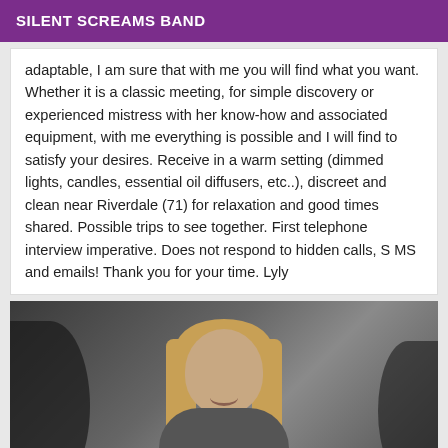SILENT SCREAMS BAND
adaptable, I am sure that with me you will find what you want. Whether it is a classic meeting, for simple discovery or experienced mistress with her know-how and associated equipment, with me everything is possible and I will find to satisfy your desires. Receive in a warm setting (dimmed lights, candles, essential oil diffusers, etc..), discreet and clean near Riverdale (71) for relaxation and good times shared. Possible trips to see together. First telephone interview imperative. Does not respond to hidden calls, S MS and emails! Thank you for your time. Lyly
[Figure (photo): A woman with blonde hair smiling, photographed against a dark background with dark swoosh-like shapes around her.]